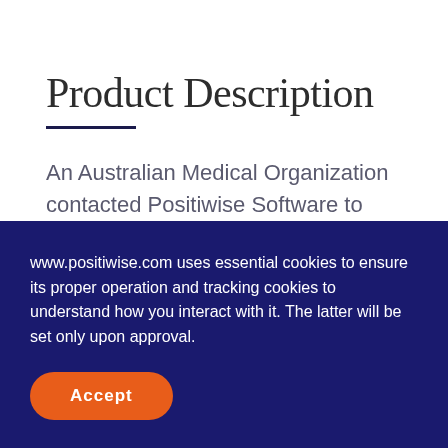Product Description
An Australian Medical Organization contacted Positiwise Software to build an efficient data warehouse mechanism for streamlining the following data operations:
www.positiwise.com uses essential cookies to ensure its proper operation and tracking cookies to understand how you interact with it. The latter will be set only upon approval.
Accept